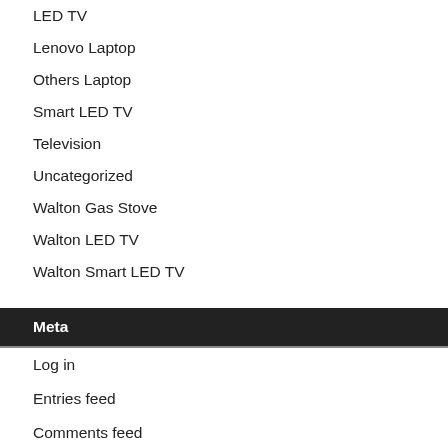LED TV
Lenovo Laptop
Others Laptop
Smart LED TV
Television
Uncategorized
Walton Gas Stove
Walton LED TV
Walton Smart LED TV
Meta
Log in
Entries feed
Comments feed